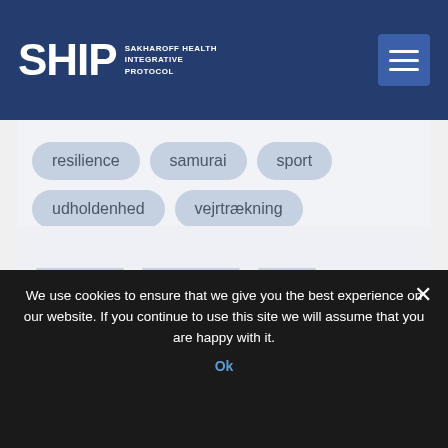SHIP SAKHAROFF HEALTH INTEGRATIVE PROTOCOL
[Figure (infographic): Tag cloud with Danish and English health/wellness keywords displayed as rounded pill-shaped buttons on a light grey background. Tags include: resilience, samurai, sport, udholdenhed, vejrtrækning, vo2max, willpower, zen, åndedræt]
We use cookies to ensure that we give you the best experience on our website. If you continue to use this site we will assume that you are happy with it.
Ok